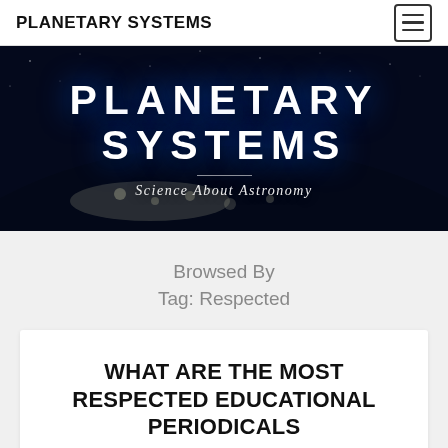PLANETARY SYSTEMS
[Figure (illustration): Hero banner with Earth from space background showing city lights and atmosphere with glowing blue horizon. Large white bold text reads PLANETARY SYSTEMS with subtitle Science About Astronomy in italic below a thin divider line.]
Browsed By
Tag: Respected
WHAT ARE THE MOST RESPECTED EDUCATIONAL PERIODICALS